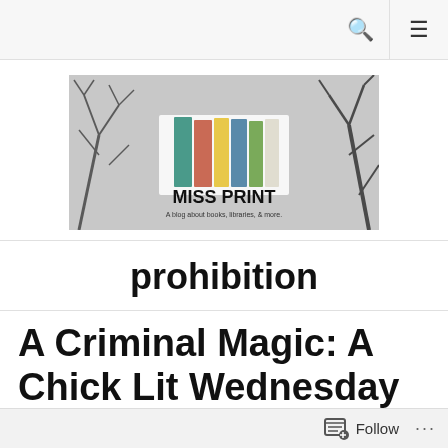[Figure (logo): Miss Print blog logo banner: colorful books on a branch background with text 'MISS PRINT — A blog about books, libraries, & more.']
prohibition
A Criminal Magic: A Chick Lit Wednesday Review
Follow